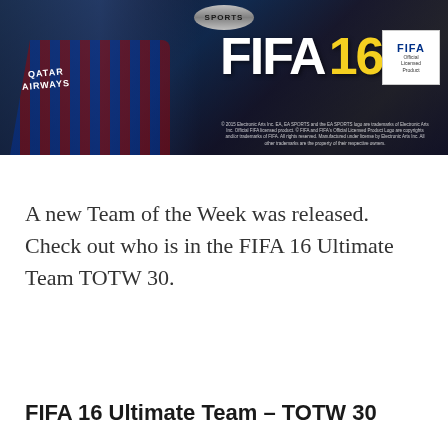[Figure (photo): FIFA 16 game cover art showing a soccer player in a Barcelona jersey (Qatar Airways sponsor) on a dark blue background, with the FIFA 16 logo in white and yellow, EA SPORTS badge at top, and FIFA Official Licensed Product badge on the right.]
A new Team of the Week was released. Check out who is in the FIFA 16 Ultimate Team TOTW 30.
FIFA 16 Ultimate Team – TOTW 30